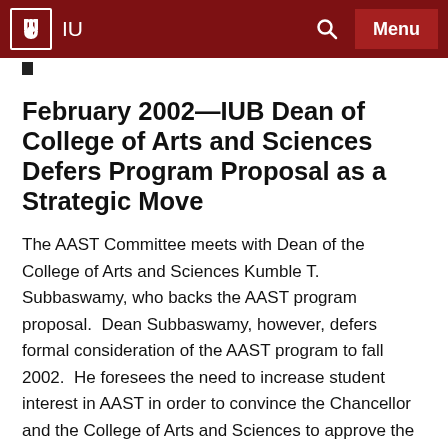IU | Menu
February 2002—IUB Dean of College of Arts and Sciences Defers Program Proposal as a Strategic Move
The AAST Committee meets with Dean of the College of Arts and Sciences Kumble T. Subbaswamy, who backs the AAST program proposal.  Dean Subbaswamy, however, defers formal consideration of the AAST program to fall 2002.  He foresees the need to increase student interest in AAST in order to convince the Chancellor and the College of Arts and Sciences to approve the program.  The Dean and the AAST Committee agree to host an Asian American Studies